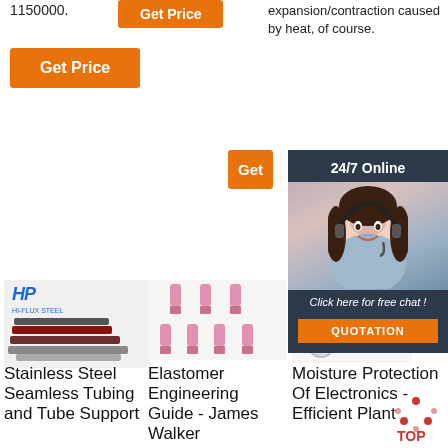1150000.
expansion/contraction caused by heat, of course.
[Figure (other): Orange Get Price button (top center)]
[Figure (other): Orange Get Price button (left)]
[Figure (other): Orange Get button (right, partial) and dark navy chat overlay panel with 24/7 Online header, agent photo, 'Click here for free chat!' text, and QUOTATION button]
[Figure (photo): Stainless steel seamless tubing product image with HP logo]
[Figure (photo): Pink elastomer engineering connectors]
[Figure (photo): Moisture protection ring connectors with Raytech logo]
Stainless Steel Seamless Tubing and Tube Support
Elastomer Engineering Guide - James Walker
Moisture Protection Of Electronics - Efficient Plant